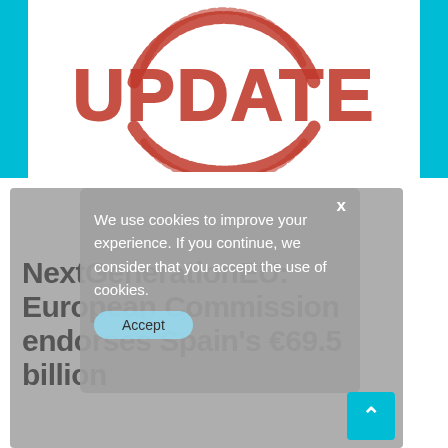[Figure (illustration): Red rubber stamp graphic with the word UPDATE in large capital letters, with circular stamp ring arc below it]
NextGenerationEU: European Commission endorses Spain's €69.5 billion
We use cookies to improve your experience. If you continue, we consider that you accept the use of cookies.